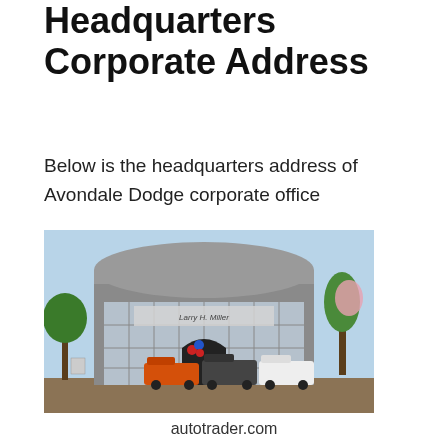Headquarters Corporate Address
Below is the headquarters address of Avondale Dodge corporate office
[Figure (photo): Exterior photo of a Larry H. Miller auto dealership building with cars parked in front, including orange and white trucks. Trees and blue sky visible in background.]
autotrader.com